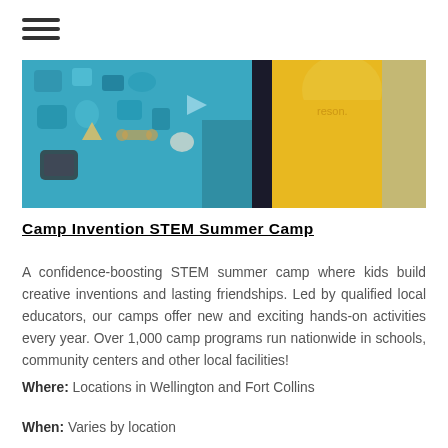[Figure (photo): Children at a STEM camp working with blue cardboard boxes decorated with stickers; a person in a yellow hoodie is visible in the background.]
Camp Invention STEM Summer Camp
A confidence-boosting STEM summer camp where kids build creative inventions and lasting friendships. Led by qualified local educators, our camps offer new and exciting hands-on activities every year. Over 1,000 camp programs run nationwide in schools, community centers and other local facilities!
Where: Locations in Wellington and Fort Collins
When: Varies by location